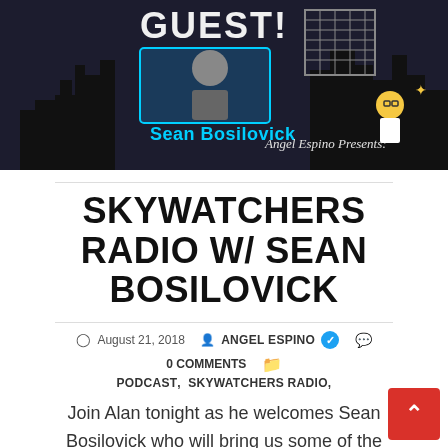[Figure (photo): Banner image for Skywatchers Radio podcast featuring 'GUEST!' text, a photo of Sean Bosilovick, a cartoon character with glasses, and text 'Angel Espino Presents:' against a dark city skyline background.]
SKYWATCHERS RADIO W/ SEAN BOSILOVICK
August 21, 2018  ANGEL ESPINO ✓  0 COMMENTS
PODCAST, SKYWATCHERS RADIO,
Join Alan tonight as he welcomes Sean Bosilovick who will bring us some of the most serious topics ever talked about on this show. Sean…
Read more